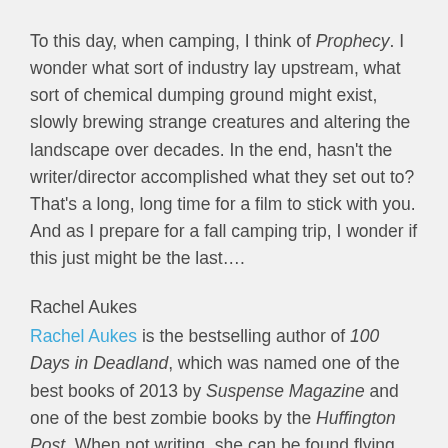To this day, when camping, I think of Prophecy. I wonder what sort of industry lay upstream, what sort of chemical dumping ground might exist, slowly brewing strange creatures and altering the landscape over decades. In the end, hasn't the writer/director accomplished what they set out to? That's a long, long time for a film to stick with you. And as I prepare for a fall camping trip, I wonder if this just might be the last….
Rachel Aukes
Rachel Aukes is the bestselling author of 100 Days in Deadland, which was named one of the best books of 2013 by Suspense Magazine and one of the best zombie books by the Huffington Post. When not writing, she can be found flying old airplanes and trying to prepare for the zombie apocalypse. Learn more at